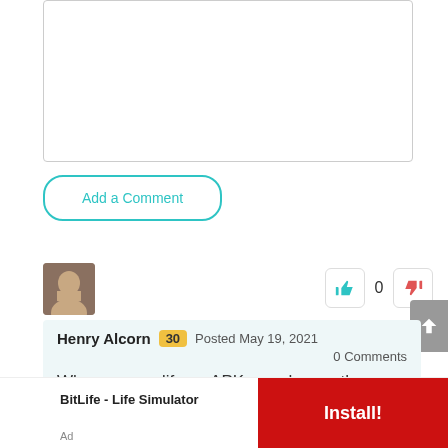[Figure (other): Empty comment text input box with light border]
Add a Comment
[Figure (photo): User avatar photo of Henry Alcorn, a young man]
[Figure (other): Thumbs up vote button (teal), vote count 0, thumbs down vote button (red/pink)]
Henry Alcorn 30 Posted May 19, 2021
0 Comments
When we modify an APK, we change the version checking and signing key for a
BitLife - Life Simulator
Ad
Install!